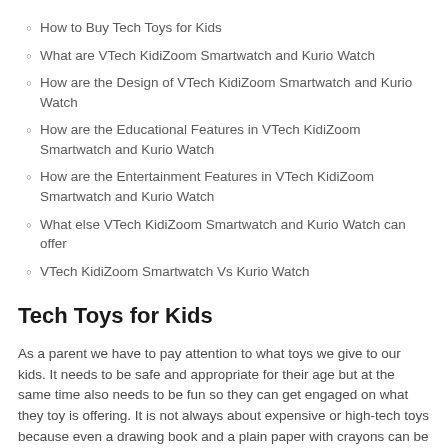How to Buy Tech Toys for Kids
What are VTech KidiZoom Smartwatch and Kurio Watch
How are the Design of VTech KidiZoom Smartwatch and Kurio Watch
How are the Educational Features in VTech KidiZoom Smartwatch and Kurio Watch
How are the Entertainment Features in VTech KidiZoom Smartwatch and Kurio Watch
What else VTech KidiZoom Smartwatch and Kurio Watch can offer
VTech KidiZoom Smartwatch Vs Kurio Watch
Tech Toys for Kids
As a parent we have to pay attention to what toys we give to our kids. It needs to be safe and appropriate for their age but at the same time also needs to be fun so they can get engaged on what they toy is offering. It is not always about expensive or high-tech toys because even a drawing book and a plain paper with crayons can be a great toy as well as a learning tool. But, for parents with older children, they may get bored of the simpler toys already.